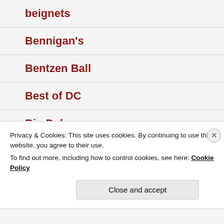beignets
Bennigan's
Bentzen Ball
Best of DC
Big Deke
Bill Paxton
Privacy & Cookies: This site uses cookies. By continuing to use this website, you agree to their use.
To find out more, including how to control cookies, see here: Cookie Policy
Close and accept